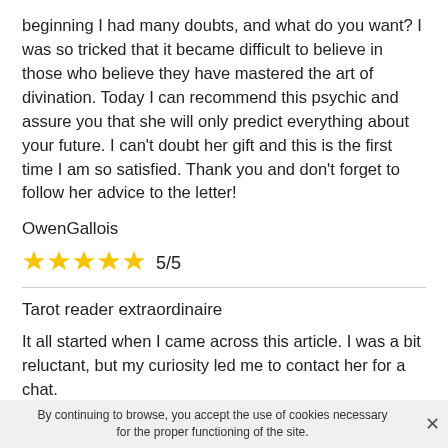beginning I had many doubts, and what do you want? I was so tricked that it became difficult to believe in those who believe they have mastered the art of divination. Today I can recommend this psychic and assure you that she will only predict everything about your future. I can't doubt her gift and this is the first time I am so satisfied. Thank you and don't forget to follow her advice to the letter!
OwenGallois
[Figure (other): Five gold stars rating with text 5/5]
Tarot reader extraordinaire
It all started when I came across this article. I was a bit reluctant, but my curiosity led me to contact her for a chat.
By continuing to browse, you accept the use of cookies necessary for the proper functioning of the site.